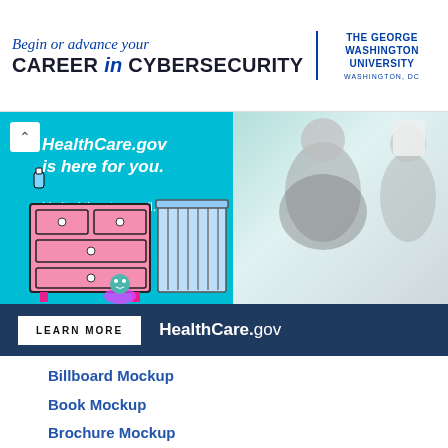[Figure (screenshot): Top advertisement banner for The George Washington University cybersecurity program. Text reads: 'Begin or advance your CAREER in CYBERSECURITY' on the left and 'THE GEORGE WASHINGTON UNIVERSITY WASHINGTON, DC' on the right.]
[Figure (screenshot): HealthCare.gov advertisement banner with teal background. Shows pregnant woman and another person holding baby onesie. Text: 'HealthCare.gov is here for you. Limited time to enroll.' with illustrated dresser, crib, and cartoon characters. Bottom bar has 'LEARN MORE' button and 'HealthCare.gov' branding.]
Billboard Mockup
Book Mockup
Brochure Mockup
Business Card Mockup